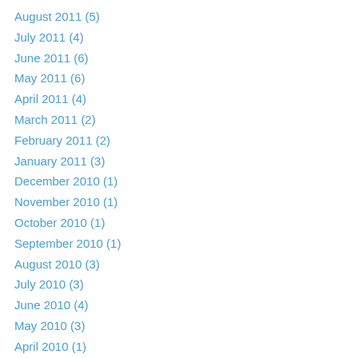August 2011 (5)
July 2011 (4)
June 2011 (6)
May 2011 (6)
April 2011 (4)
March 2011 (2)
February 2011 (2)
January 2011 (3)
December 2010 (1)
November 2010 (1)
October 2010 (1)
September 2010 (1)
August 2010 (3)
July 2010 (3)
June 2010 (4)
May 2010 (3)
April 2010 (1)
March 2010 (1)